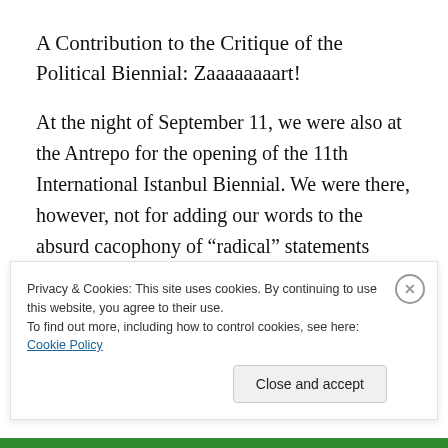A Contribution to the Critique of the Political Biennial: Zaaaaaaaart!
At the night of September 11, we were also at the Antrepo for the opening of the 11th International Istanbul Biennial. We were there, however, not for adding our words to the absurd cacophony of “radical” statements which were floating in the air like over repeated tongue twisters but to “zaaart” this spectacle. There is
Privacy & Cookies: This site uses cookies. By continuing to use this website, you agree to their use. To find out more, including how to control cookies, see here: Cookie Policy